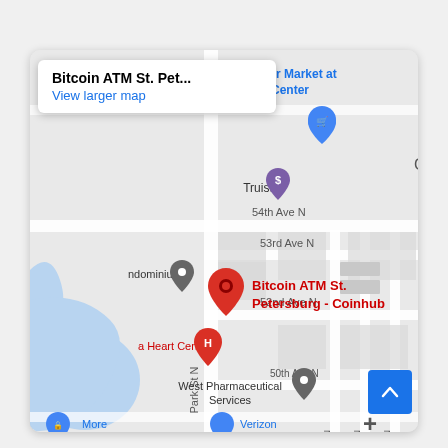[Figure (map): Google Maps screenshot showing location of Bitcoin ATM St. Petersburg - Coinhub near 52nd Ave N and Park St N in St. Petersburg, FL. Shows surrounding landmarks including Publix Super Market at Retail Center, Truist bank, a Heart Center, West Pharmaceutical Services, Verizon, and street labels 54th Ave N, 53rd Ave N, 52nd Ave N, 50th Ave N, 81st St N, 80th Ln N, 80th Way N. A popup tooltip at the top left reads 'Bitcoin ATM St. Pet...' with 'View larger map' link. A red location pin marks the Bitcoin ATM. A blue scroll-to-top button appears at bottom right.]